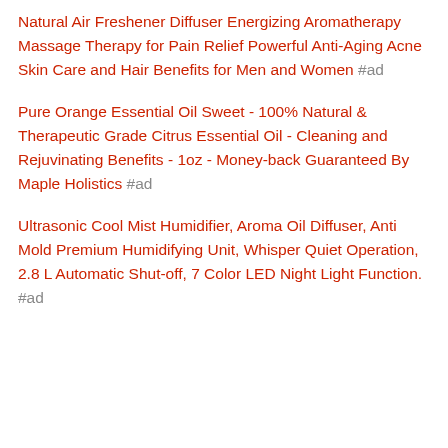Natural Air Freshener Diffuser Energizing Aromatherapy Massage Therapy for Pain Relief Powerful Anti-Aging Acne Skin Care and Hair Benefits for Men and Women #ad
Pure Orange Essential Oil Sweet - 100% Natural & Therapeutic Grade Citrus Essential Oil - Cleaning and Rejuvinating Benefits - 1oz - Money-back Guaranteed By Maple Holistics #ad
Ultrasonic Cool Mist Humidifier, Aroma Oil Diffuser, Anti Mold Premium Humidifying Unit, Whisper Quiet Operation, 2.8 L Automatic Shut-off, 7 Color LED Night Light Function. #ad